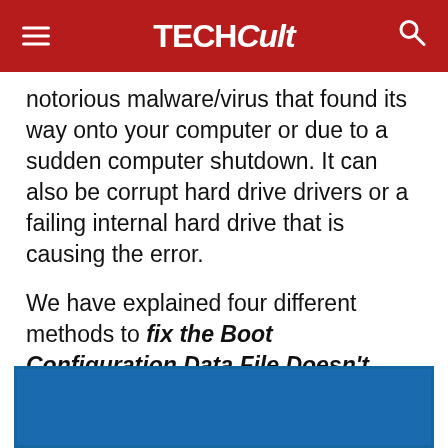TECHCult
notorious malware/virus that found its way onto your computer or due to a sudden computer shutdown. It can also be corrupt hard drive drivers or a failing internal hard drive that is causing the error.
We have explained four different methods to fix the Boot Configuration Data File Doesn't Contain Valid Information error below and one of them will surely help you get things back to normal.
[Figure (screenshot): Blue screenshot or image area at the bottom of the page]